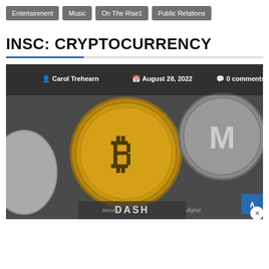Entertainment | Music | On The Rise1 | Public Relations
INSC: CRYPTOCURRENCY
[Figure (photo): A photo of multiple cryptocurrency coins including Bitcoin (gold), Monero (silver with M logo), Dash, and other crypto coins arranged together. Overlay text shows author 'Carol Trehearn', date 'August 28, 2022', and '0 comments'.]